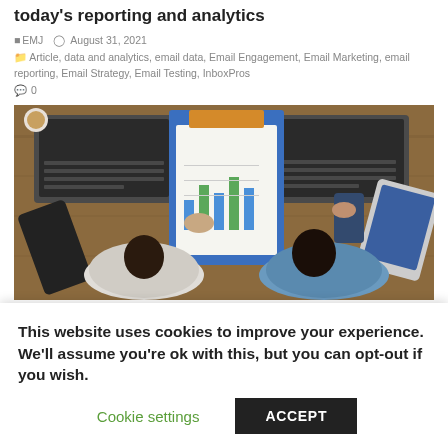today's reporting and analytics
EMJ   August 31, 2021
Article, data and analytics, email data, Email Engagement, Email Marketing, email reporting, Email Strategy, Email Testing, InboxPros
0
[Figure (photo): Overhead/bird's-eye view of two people sitting at a wooden desk with laptops, a clipboard showing a bar chart, smartphones, and a tablet. One person on the left is wearing a white shirt and the other on the right is wearing a blue shirt.]
Due to recent privacy updates from Apple, email open
This website uses cookies to improve your experience. We'll assume you're ok with this, but you can opt-out if you wish.
Cookie settings   ACCEPT